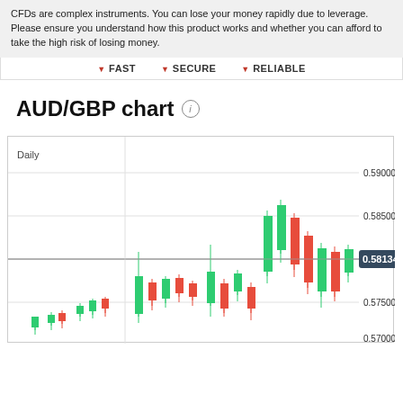CFDs are complex instruments. You can lose your money rapidly due to leverage. Please ensure you understand how this product works and whether you can afford to take the high risk of losing money.
▼ FAST  ▼ SECURE  ▼ RELIABLE
AUD/GBP chart ℹ
[Figure (continuous-plot): AUD/GBP daily candlestick chart showing price action with green (bullish) and red (bearish) candles. Y-axis shows price levels from approximately 0.57000 to 0.59000. Current price marker shows 0.58134. Label 'Daily' shown top-left.]